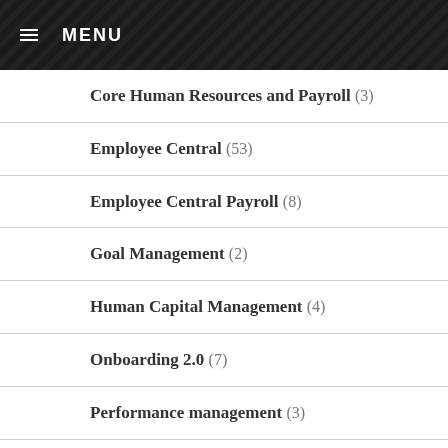MENU
Core Human Resources and Payroll (3)
Employee Central (53)
Employee Central Payroll (8)
Goal Management (2)
Human Capital Management (4)
Onboarding 2.0 (7)
Performance management (3)
Recruitment Management (24)
Sample SuccessFactors Training Videos (16)